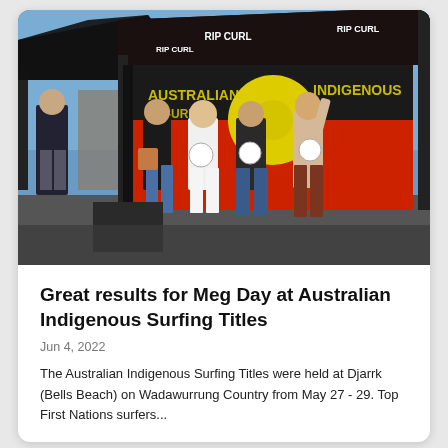[Figure (photo): Four young women standing in front of an Australian Indigenous Surfing tent (Rip Curl branded) holding awards/trophies. There is also a person standing to the left. The background shows an Australian Indigenous flag banner and Rip Curl branding. The event is outdoors on a sunny day.]
Great results for Meg Day at Australian Indigenous Surfing Titles
Jun 4, 2022
The Australian Indigenous Surfing Titles were held at Djarrk (Bells Beach) on Wadawurrung Country from May 27 - 29.  Top First Nations surfers...